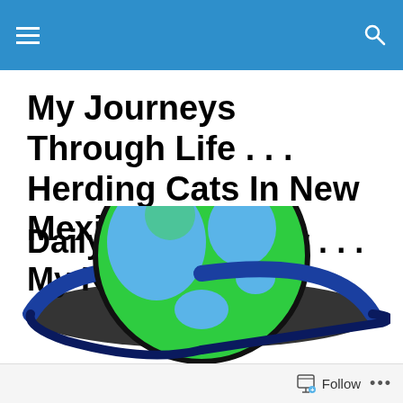My Journeys Through Life . . . Herding Cats In New Mexico!
Daily Bible Jigsaw . . . My Review
[Figure (illustration): Stylized globe/earth illustration with green continents and blue oceans, surrounded by a dark orbital ring or swoosh shape, partially visible at the bottom of the page.]
Follow ...